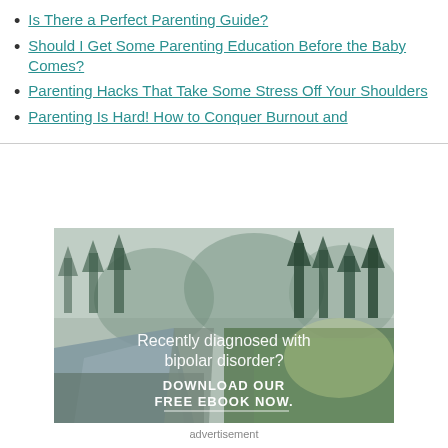Is There a Perfect Parenting Guide?
Should I Get Some Parenting Education Before the Baby Comes?
Parenting Hacks That Take Some Stress Off Your Shoulders
Parenting Is Hard! How to Conquer Burnout and
[Figure (photo): Forest landscape with river and pine trees, text overlay: 'Recently diagnosed with bipolar disorder? DOWNLOAD OUR FREE EBOOK NOW.']
advertisement